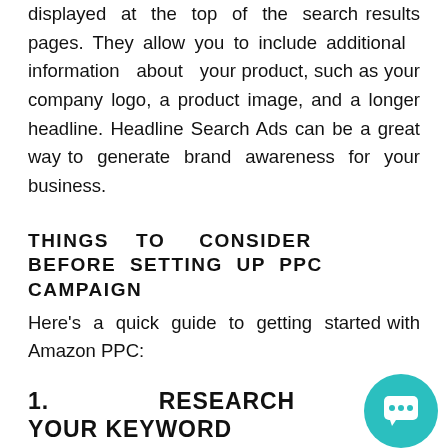displayed at the top of the search results pages. They allow you to include additional information about your product, such as your company logo, a product image, and a longer headline. Headline Search Ads can be a great way to generate brand awareness for your business.
THINGS TO CONSIDER BEFORE SETTING UP PPC CAMPAIGN
Here's a quick guide to getting started with Amazon PPC:
1.    RESEARCH YOUR KEYWORD
Before you begin creating your ads, it's essential to research to find the right